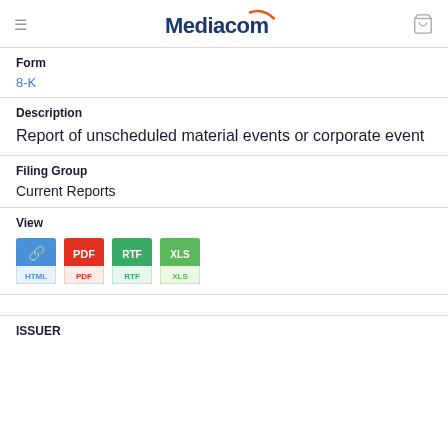Mediacom
Form
8-K
Description
Report of unscheduled material events or corporate event
Filing Group
Current Reports
View
[Figure (screenshot): Four file format icons: HTML, PDF, RTF, XLS]
ISSUER